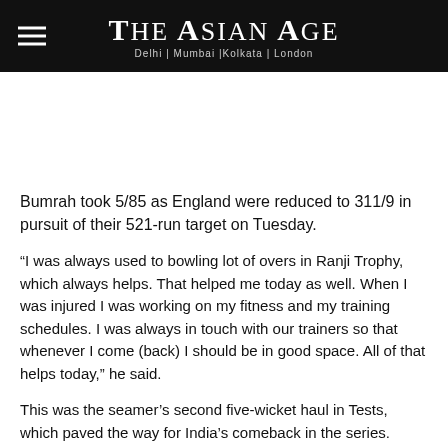The Asian Age — Delhi | Mumbai |Kolkata | London
Bumrah took 5/85 as England were reduced to 311/9 in pursuit of their 521-run target on Tuesday.
“I was always used to bowling lot of overs in Ranji Trophy, which always helps. That helped me today as well. When I was injured I was working on my fitness and my training schedules. I was always in touch with our trainers so that whenever I come (back) I should be in good space. All of that helps today,” he said.
This was the seamer’s second five-wicket haul in Tests, which paved the way for India’s comeback in the series.
“You don’t get anything easy. You have to work for it. We